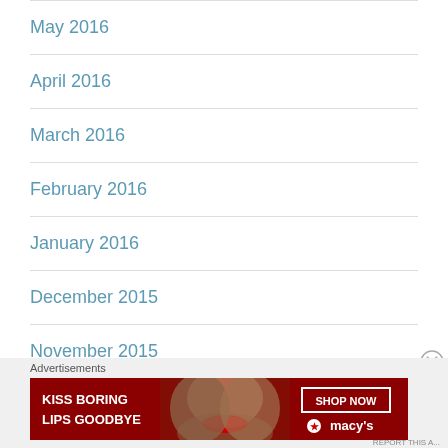May 2016
April 2016
March 2016
February 2016
January 2016
December 2015
November 2015
Advertisements
[Figure (photo): Macy's advertisement banner: 'KISS BORING LIPS GOODBYE' with a woman's face showing red lips, and a 'SHOP NOW' button with Macy's star logo on dark red background]